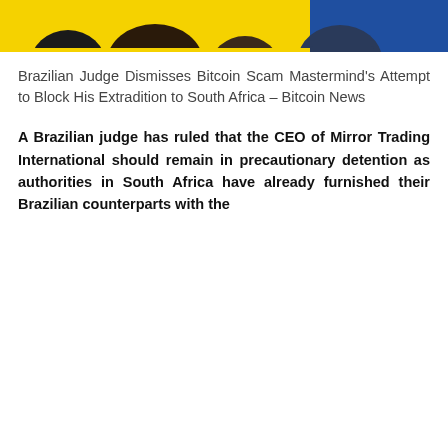[Figure (photo): Partial view of people's heads against a yellow background, cropped at the top of the page]
Brazilian Judge Dismisses Bitcoin Scam Mastermind's Attempt to Block His Extradition to South Africa – Bitcoin News
A Brazilian judge has ruled that the CEO of Mirror Trading International should remain in precautionary detention as authorities in South Africa have already furnished their Brazilian counterparts with the